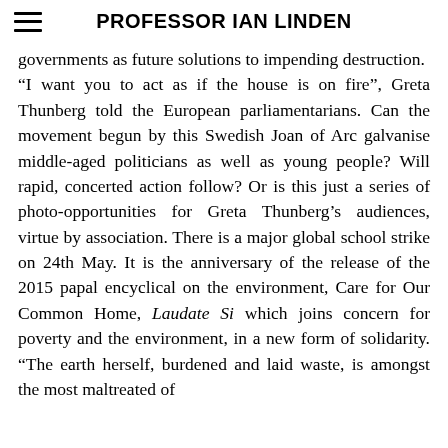PROFESSOR IAN LINDEN
governments as future solutions to impending destruction. “I want you to act as if the house is on fire”, Greta Thunberg told the European parliamentarians. Can the movement begun by this Swedish Joan of Arc galvanise middle-aged politicians as well as young people? Will rapid, concerted action follow? Or is this just a series of photo-opportunities for Greta Thunberg’s audiences, virtue by association. There is a major global school strike on 24th May. It is the anniversary of the release of the 2015 papal encyclical on the environment, Care for Our Common Home, Laudate Si which joins concern for poverty and the environment, in a new form of solidarity. “The earth herself, burdened and laid waste, is amongst the most maltreated of